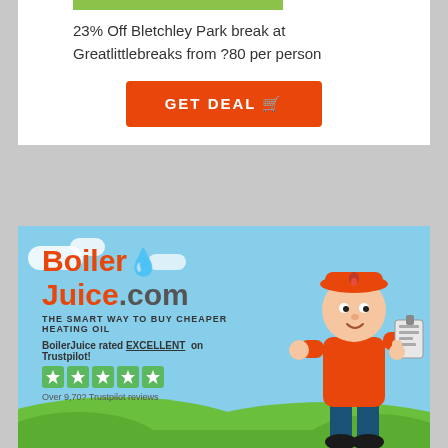23% Off Bletchley Park break at Greatlittlebreaks from ?80 per person
GET DEAL 🛒
[Figure (infographic): BoilerJuice.com banner ad. Orange and green logo text: 'BoilerJuice.com', subtitle 'THE SMART WAY TO BUY CHEAPER HEATING OIL', 'BoilerJuice rated EXCELLENT on Trustpilot!' with 5 green star rating boxes, 'Over 9,70? Trustpilot reviews'. Sky blue background with green hills and cartoon character in orange outfit holding a clipboard.]
24%
24% Off Cheshire Afternoon Tea at Greatlittlebreaks